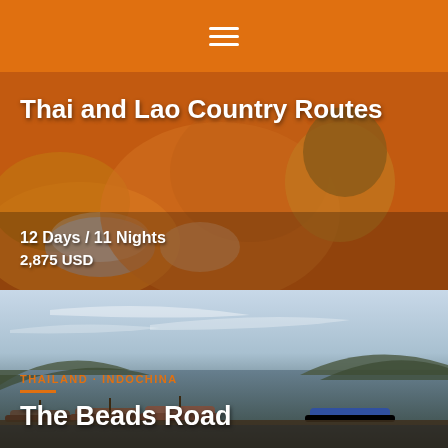☰
[Figure (photo): Buddhist monks in orange robes praying, with a warm orange-toned overlay]
Thai and Lao Country Routes
12 Days / 11 Nights
2,875 USD
[Figure (photo): River scene with long-tail boats moored at a dock, mountains and cloudy sky in background]
THAILAND · INDOCHINA
The Beads Road